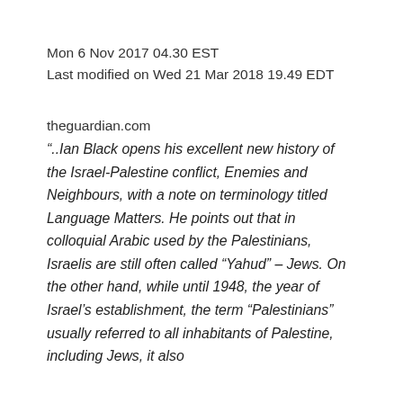Mon 6 Nov 2017 04.30 EST
Last modified on Wed 21 Mar 2018 19.49 EDT
theguardian.com
“..Ian Black opens his excellent new history of the Israel-Palestine conflict, Enemies and Neighbours, with a note on terminology titled Language Matters. He points out that in colloquial Arabic used by the Palestinians, Israelis are still often called “Yahud” – Jews. On the other hand, while until 1948, the year of Israel’s establishment, the term “Palestinians” usually referred to all inhabitants of Palestine, including Jews, it also